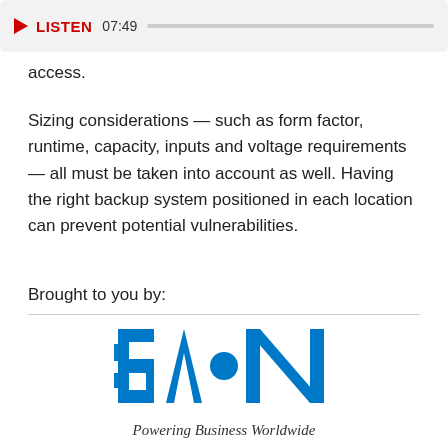[Figure (other): Audio player bar with red play triangle, LISTEN label, time 07:49, and a gray progress track]
access.
Sizing considerations — such as form factor, runtime, capacity, inputs and voltage requirements — all must be taken into account as well. Having the right backup system positioned in each location can prevent potential vulnerabilities.
Brought to you by:
[Figure (logo): Eaton logo in blue with tagline Powering Business Worldwide in italic]
Powering Business Worldwide